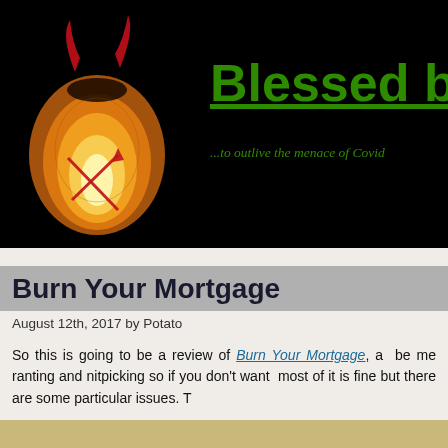[Figure (illustration): Blog header banner with black background. Left side shows a glowing orange/yellow lantern with red devil horn designs and a red arrow/X symbol. Small text logo 'Blessed by the Potato' in orange in top-left corner. Right side shows large green bold underlined text 'Blessed b' (cropped) and italic green subtitle '...to outlive the menace of Covid' (cropped).]
Burn Your Mortgage
August 12th, 2017 by Potato
So this is going to be a review of Burn Your Mortgage, a... be me ranting and nitpicking so if you donât want... most of it is fine but there are some particular issues. T...